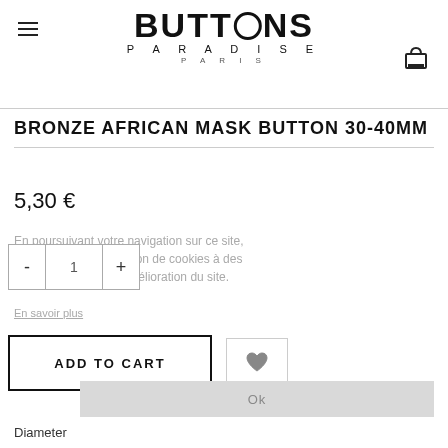BUTTONS PARADISE PARIS
BRONZE AFRICAN MASK BUTTON 30-40MM
5,30 €
En poursuivant votre navigation sur ce site, vous acceptez l'utilisation de cookies à des fins statistiques et d'amélioration du site.
En savoir plus
ADD TO CART
Diameter